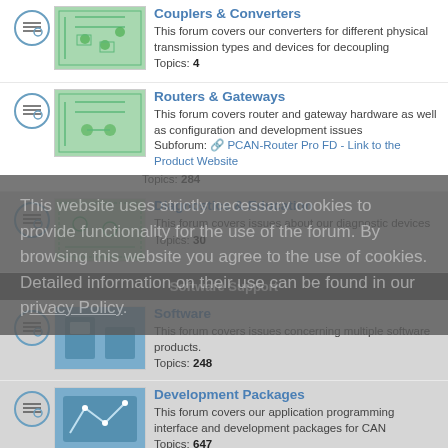Couplers & Converters – This forum covers our converters for different physical transmission types and devices for decoupling. Topics: 4
Routers & Gateways – This forum covers router and gateway hardware as well as configuration and development issues. Subforum: PCAN-Router Pro FD - Link to the Product Website. Topics: 284
Diagnostics & Education – This forum covers issues about our diagnostic devices. Topics: 30
Software Support
Software – This forum covers issues concerning multiple software products. Topics: 248
Development Packages – This forum covers our application programming interface and development packages for CAN. Topics: 647
Application Software – This forum covers the software for application purposes like CAN bus simulation, monitoring, and logging. Topics: 49
PCAN-Explorer & Add-ins
This website uses strictly necessary cookies to provide functionality for the use of the forum. By browsing this website you agree to the use of cookies. Detailed information on their use can be found in our privacy policy.